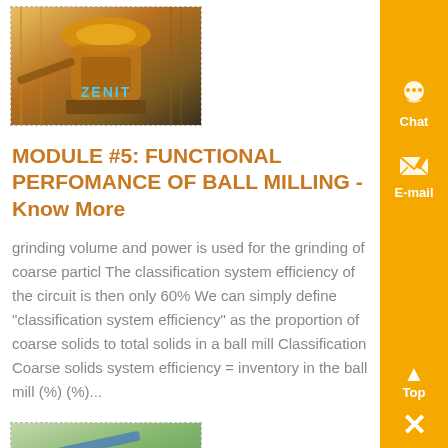[Figure (photo): Industrial milling/crushing machine with yellow and orange structure, ZENIT branding visible, scaffolding and equipment visible]
MODULE #5: FUNCTIONAL PERFOMANCE OF BALL MILLING - Know More
grinding volume and power is used for the grinding of coarse particl The classification system efficiency of the circuit is then only 60% We can simply define "classification system efficiency" as the proportion of coarse solids to total solids in a ball mill Classification Coarse solids system efficiency = inventory in the ball mill (%) (%)...
[Figure (photo): Industrial conveyor belt or processing equipment on green hillside outdoor setting]